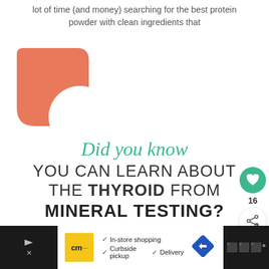lot of time (and money) searching for the best protein powder with clean ingredients that
[Figure (illustration): Salmon/coral colored decorative quote mark or speech bubble shape — a rounded square with a circular cutout in the lower right corner, forming a stylized open quotation mark graphic.]
[Figure (infographic): Infographic block with script green 'Did you know' text above large bold sans-serif uppercase text reading 'YOU CAN LEARN ABOUT THE THYROID FROM MINERAL TESTING?']
[Figure (other): Advertisement bar at the bottom: CM logo, in-store shopping, curbside pickup, delivery options listed with checkmarks, a blue navigation diamond icon, and dark strip on the right with app icon.]